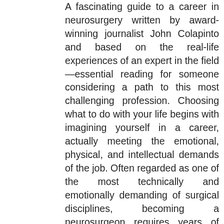A fascinating guide to a career in neurosurgery written by award-winning journalist John Colapinto and based on the real-life experiences of an expert in the field—essential reading for someone considering a path to this most challenging profession. Choosing what to do with your life begins with imagining yourself in a career, actually meeting the emotional, physical, and intellectual demands of the job. Often regarded as one of the most technically and emotionally demanding of surgical disciplines, becoming a neurosurgeon requires years of study. This practical guide offers a unique opportunity to see what daily life for a neurosurgeon is like, from someone who has mastered the profession and can explain what the risks and rewards of the job really are. Joshua Bederson is the chief of Neurosurgery at the esteemed Mt. Sinai Hospital in New York